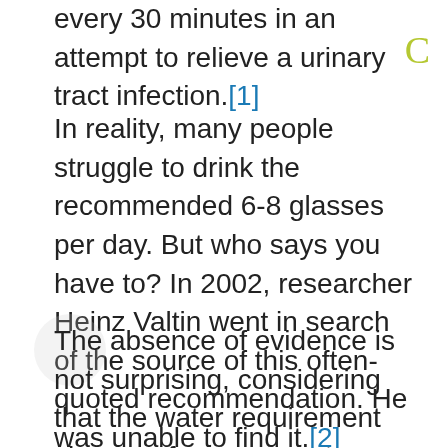every 30 minutes in an attempt to relieve a urinary tract infection.[1]
In reality, many people struggle to drink the recommended 6-8 glasses per day. But who says you have to? In 2002, researcher Heinz Valtin went in search of the source of this often-quoted recommendation. He was unable to find it.[2] There is no scientific evidence for the advice to drink 6-8 glasses per day as far as he could see.
The absence of evidence is not surprising, considering that the water requirement changes from person to person and from day to day. How much you need to drink depends on your gender, age, weight, activity level, climate, altitude, and medication ... to name but a few.[3] Some people need just 8 glasses of fluids a day; others need